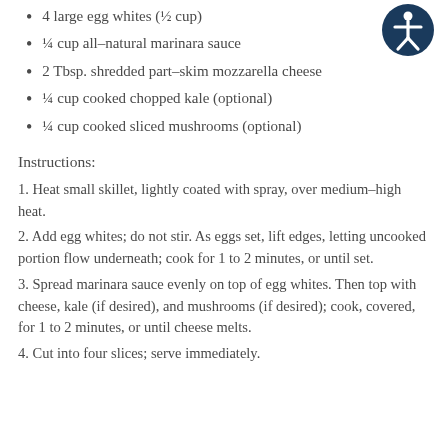4 large egg whites (½ cup)
¼ cup all-natural marinara sauce
2 Tbsp. shredded part-skim mozzarella cheese
¼ cup cooked chopped kale (optional)
¼ cup cooked sliced mushrooms (optional)
Instructions:
1. Heat small skillet, lightly coated with spray, over medium-high heat.
2. Add egg whites; do not stir. As eggs set, lift edges, letting uncooked portion flow underneath; cook for 1 to 2 minutes, or until set.
3. Spread marinara sauce evenly on top of egg whites. Then top with cheese, kale (if desired), and mushrooms (if desired); cook, covered, for 1 to 2 minutes, or until cheese melts.
4. Cut into four slices; serve immediately.
[Figure (illustration): Accessibility icon: dark blue circle with white figure of a person with arms and legs outstretched]